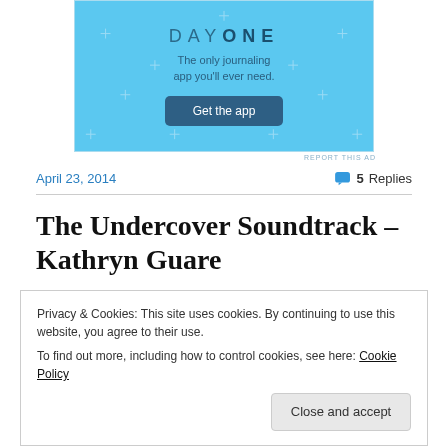[Figure (screenshot): Day One app advertisement banner with blue background, sparkle decorations, tagline 'The only journaling app you'll ever need.' and a 'Get the app' button]
REPORT THIS AD
April 23, 2014
5 Replies
The Undercover Soundtrack – Kathryn Guare
Privacy & Cookies: This site uses cookies. By continuing to use this website, you agree to their use.
To find out more, including how to control cookies, see here: Cookie Policy
Close and accept